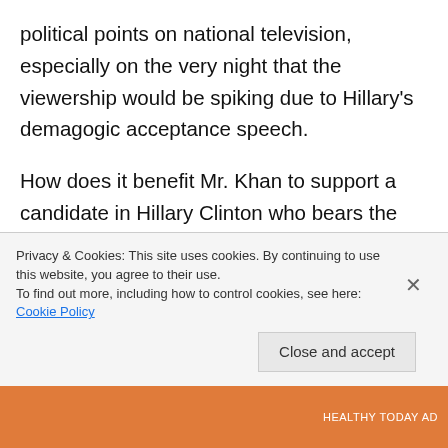political points on national television, especially on the very night that the viewership would be spiking due to Hillary's demagogic acceptance speech.
How does it benefit Mr. Khan to support a candidate in Hillary Clinton who bears the lion's share of the responsibility for the current refugee crisis as well as the unleashing of ISIS extremists to murder other Muslims? It was after all her brilliant idea to topple Muammar Gaddafi in one of those great regime change operations that the neocons and the cruise missile liberals are so fond of. How many Muslims perished
Privacy & Cookies: This site uses cookies. By continuing to use this website, you agree to their use.
To find out more, including how to control cookies, see here: Cookie Policy
Close and accept